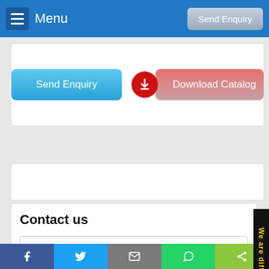Menu | Send Enquiry
[Figure (screenshot): Send Enquiry button (blue) and Download Catalog button (red) on white card]
[Figure (screenshot): White content band area]
Contact us
[Figure (screenshot): Contact form with Name, E-Mail ID, (XXX) XXX-XXXX, Add Enquiry Details fields]
Social share bar: Facebook, Twitter, Email, WhatsApp, Share